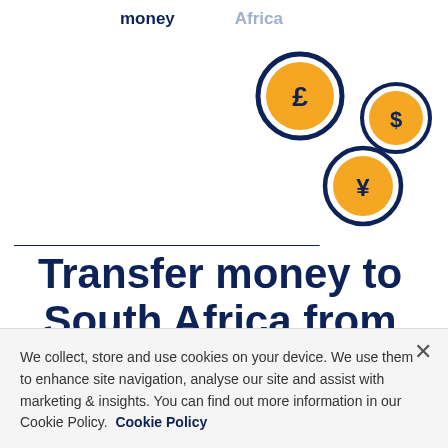money  Africa
[Figure (illustration): Three currency coin icons arranged diagonally: a large pound (£) coin with dark navy border at top, a dollar ($) coin with dark navy border at right, and a yen (¥) coin with dark navy border at bottom. All coins have orange fill with dark navy currency symbols.]
Transfer money to South Africa from Greece
We collect, store and use cookies on your device. We use them to enhance site navigation, analyse our site and assist with marketing & insights. You can find out more information in our Cookie Policy.  Cookie Policy
rates.